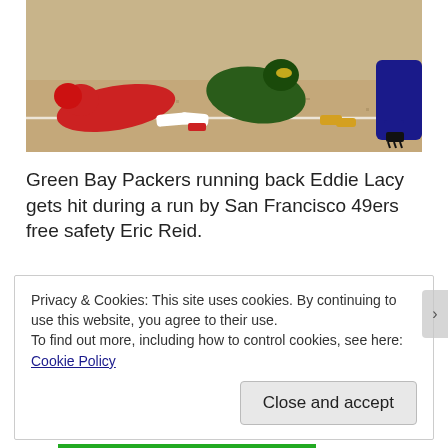[Figure (photo): Football action photo showing players on the ground during a play. A player in red uniform is lying on the dirt field, with players in green and other uniforms visible. A white yard line is visible on the field.]
Green Bay Packers running back Eddie Lacy gets hit during a run by San Francisco 49ers free safety Eric Reid.
Privacy & Cookies: This site uses cookies. By continuing to use this website, you agree to their use.
To find out more, including how to control cookies, see here: Cookie Policy